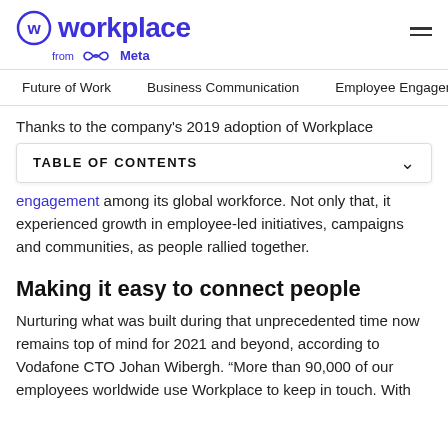Workplace from Meta
Future of Work | Business Communication | Employee Engagement
Thanks to the company's 2019 adoption of Workplace
TABLE OF CONTENTS
engagement among its global workforce. Not only that, it experienced growth in employee-led initiatives, campaigns and communities, as people rallied together.
Making it easy to connect people
Nurturing what was built during that unprecedented time now remains top of mind for 2021 and beyond, according to Vodafone CTO Johan Wibergh. “More than 90,000 of our employees worldwide use Workplace to keep in touch. With